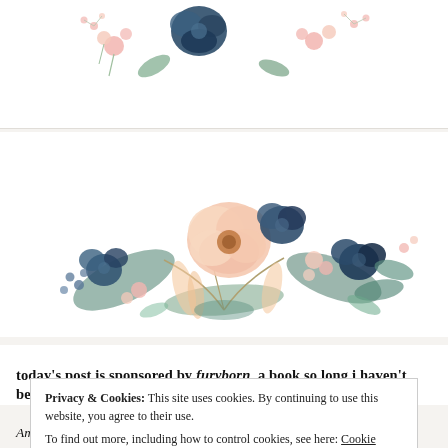[Figure (illustration): Small floral watercolor decoration with pink and blue flowers at the top of the page]
[Figure (illustration): Large watercolor floral bouquet arrangement with pink, peach, and navy blue flowers and green leaves in center of page]
today's post is sponsored by furyborn, a book so long i haven't been able to finish it in time to write a review for it this week
Privacy & Cookies: This site uses cookies. By continuing to use this website, you agree to their use.
To find out more, including how to control cookies, see here: Cookie Policy
[Close and accept]
America Civil War came out. Before I even saw T'Challa